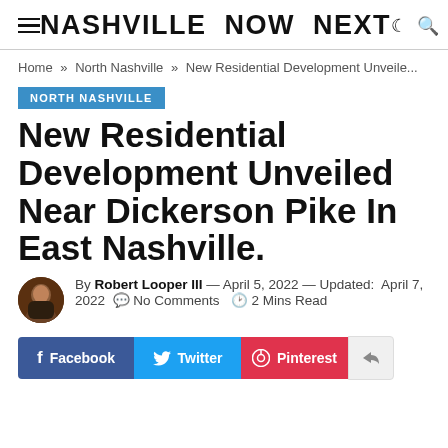NASHVILLE NOW NEXT
Home » North Nashville » New Residential Development Unveile...
NORTH NASHVILLE
New Residential Development Unveiled Near Dickerson Pike In East Nashville.
By Robert Looper III — April 5, 2022 — Updated: April 7, 2022  No Comments  2 Mins Read
Facebook  Twitter  Pinterest